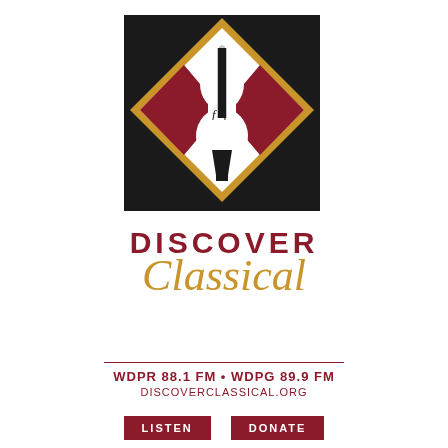[Figure (logo): Discover Classical radio station logo: black square background with a gold diamond shape outline, white violin silhouette in center, dark red/maroon shapes on sides of violin, violin strings visible at top]
DISCOVER Classical
WDPR 88.1 FM • WDPG 89.9 FM
DISCOVERCLASSICAL.ORG
LISTEN    DONATE